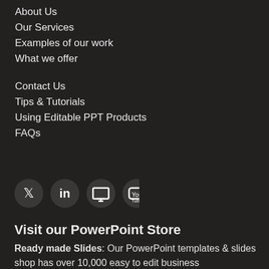About Us
Our Services
Examples of our work
What we offer
Contact Us
Tips & Tutorials
Using Editable PPT Products
FAQs
[Figure (illustration): Four social media icon circles: Twitter, LinkedIn, SlideShare, YouTube]
Visit our PowerPoint Store
Ready made Slides: Our PowerPoint templates & slides shop has over 10,000 easy to edit business